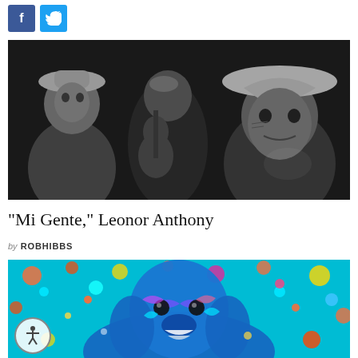[Figure (other): Facebook and Twitter social share buttons - square icons with f and bird/t logos]
[Figure (photo): Black and white photograph of people at what appears to be a festive gathering; a woman in white on the left, a man with a guitar in the center, and a man in a straw hat on the right looking directly at camera]
"Mi Gente," Leonor Anthony
by ROBHIBBS
[Figure (illustration): Colorful painting of a dog (appears to be a Labrador or similar breed) rendered in vivid blue tones against a turquoise and multicolor splattered background with impressionistic style]